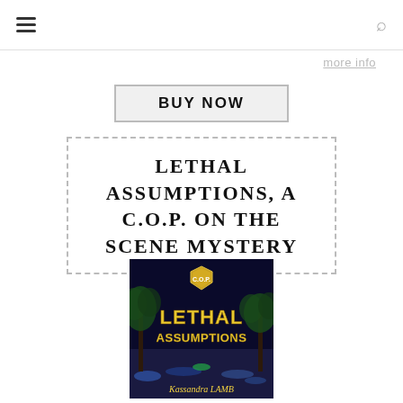☰ [menu icon] ... [search icon]
more info
[Figure (other): BUY NOW button with light gray background and border]
LETHAL ASSUMPTIONS, A C.O.P. ON THE SCENE MYSTERY
[Figure (photo): Book cover of 'Lethal Assumptions' by Kassandra LAMB. Dark night scene with palm trees and city lights. Yellow/gold text 'LETHAL ASSUMPTIONS' and author name 'Kassandra LAMB' in yellow. A gold badge/shield at top.]